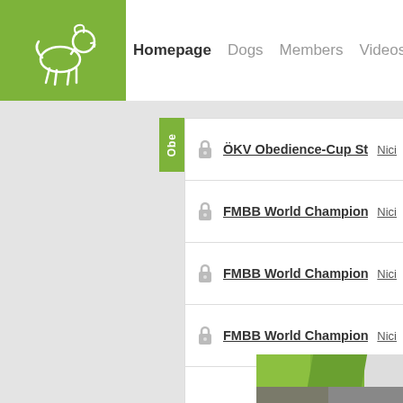[Figure (screenshot): Website navigation bar with green logo box containing white dog silhouette, followed by nav links: Homepage (bold/active), Dogs, Members, Videos, Litters, and partial next link]
ÖKV Obedience-Cup Steyr 201... Nici...
FMBB World Championchip 20... Nici...
FMBB World Championchip 20... Nici...
FMBB World Championchip 20... Nici...
[Figure (photo): Partial view of a green and white photo banner at the bottom of the page, partially showing an image of people]